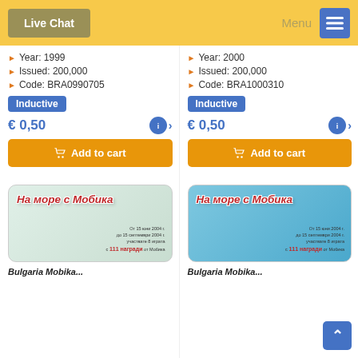Live Chat | Menu
Year: 1999
Issued: 200,000
Code: BRA0990705
Inductive
€ 0,50
Add to cart
Year: 2000
Issued: 200,000
Code: BRA1000310
Inductive
€ 0,50
Add to cart
[Figure (photo): White/light green Bulgarian phone card with Cyrillic text 'На море с Мобика' in red italic lettering, promotional text at bottom right]
[Figure (photo): Blue Bulgarian phone card with Cyrillic text 'На море с Мобика' in red italic lettering, promotional text at bottom right]
Bulgaria Mobika...
Bulgaria Mobika...